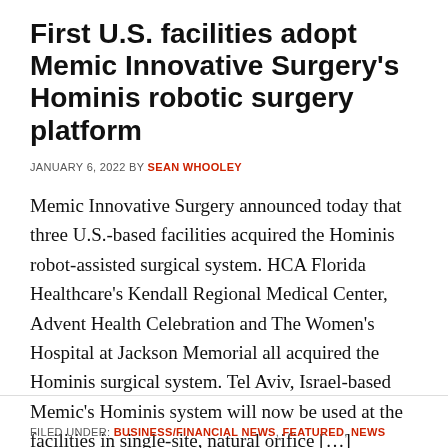First U.S. facilities adopt Memic Innovative Surgery's Hominis robotic surgery platform
JANUARY 6, 2022 BY SEAN WHOOLEY
Memic Innovative Surgery announced today that three U.S.-based facilities acquired the Hominis robot-assisted surgical system. HCA Florida Healthcare's Kendall Regional Medical Center, Advent Health Celebration and The Women's Hospital at Jackson Memorial all acquired the Hominis surgical system. Tel Aviv, Israel-based Memic's Hominis system will now be used at the facilities in single-site, natural orifice […]
FILED UNDER: BUSINESS/FINANCIAL NEWS, FEATURED, NEWS